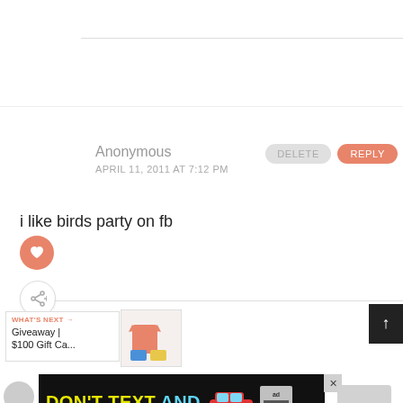Anonymous
APRIL 11, 2011 AT 7:12 PM
DELETE
REPLY
i like birds party on fb
[Figure (screenshot): Heart/like button (pink circle with heart icon)]
[Figure (screenshot): Share button (white circle with share icon)]
WHAT'S NEXT →
Giveaway |
$100 Gift Ca...
[Figure (screenshot): Scroll to top button (dark square with up arrow)]
[Figure (screenshot): Ad banner: DON'T TEXT AND [car image] with NHTSA ad logo]